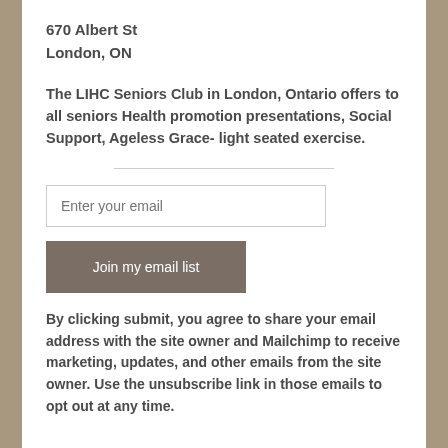670 Albert St
London, ON
The LIHC Seniors Club in London, Ontario offers to all seniors Health promotion presentations, Social Support, Ageless Grace- light seated exercise.
By clicking submit, you agree to share your email address with the site owner and Mailchimp to receive marketing, updates, and other emails from the site owner. Use the unsubscribe link in those emails to opt out at any time.